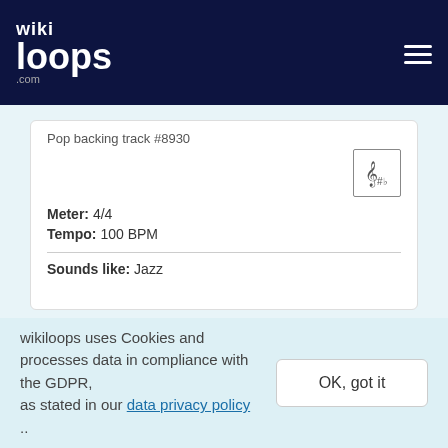wikiloops.com
Pop backing track #8930
Meter: 4/4
Tempo: 100 BPM
Sounds like: Jazz
Anyone + 3 notes
World backing track #231096
wikiloops uses Cookies and processes data in compliance with the GDPR, as stated in our data privacy policy ..